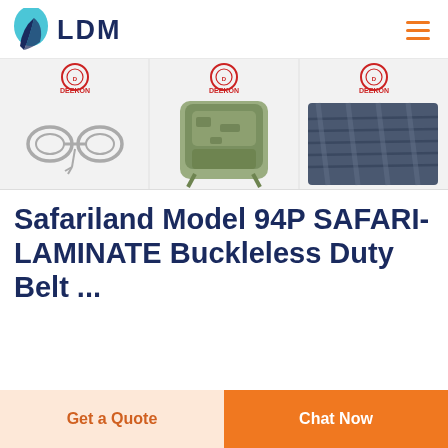[Figure (logo): LDM logo with teal leaf icon and dark blue bold text 'LDM']
[Figure (photo): Product carousel strip showing three Deekon-branded product images: handcuffs with keys, military tactical backpack, and dark blue fabric rolls]
Safariland Model 94P SAFARI-LAMINATE Buckleless Duty Belt ...
Get a Quote
Chat Now